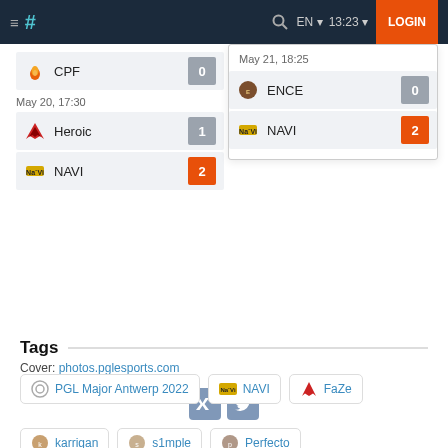≡ # [search] EN 13:23 LOGIN
[Figure (screenshot): Esports bracket showing CPF vs NAVI (May 20, 17:30) and Heroic vs NAVI (May 21, 18:25) match results with scores]
Cover: photos.pglesports.com
Tags
PGL Major Antwerp 2022
NAVI
FaZe
karrigan
s1mple
Perfecto